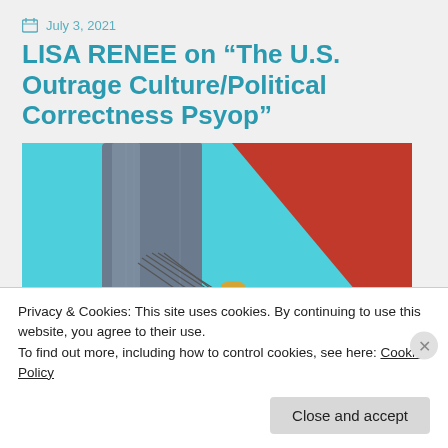July 3, 2021
LISA RENEE on “The U.S. Outrage Culture/Political Correctness Psyop”
[Figure (photo): A political illustration/photo showing a large suited figure from waist down with puppet strings, a cyan/teal background with a red diagonal, and a smaller figure of Donald Trump below.]
Privacy & Cookies: This site uses cookies. By continuing to use this website, you agree to their use.
To find out more, including how to control cookies, see here: Cookie Policy